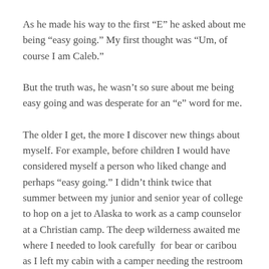As he made his way to the first “E” he asked about me being “easy going.” My first thought was “Um, of course I am Caleb.”
But the truth was, he wasn’t so sure about me being easy going and was desperate for an “e” word for me.
The older I get, the more I discover new things about myself. For example, before children I would have considered myself a person who liked change and perhaps “easy going.” I didn’t think twice that summer between my junior and senior year of college to hop on a jet to Alaska to work as a camp counselor at a Christian camp. The deep wilderness awaited me where I needed to look carefully  for bear or caribou as I left my cabin with a camper needing the restroom